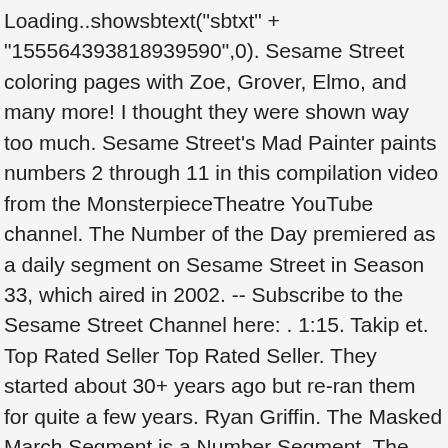Loading..showsbtext("sbtxt" + "155564393818939590",0). Sesame Street coloring pages with Zoe, Grover, Elmo, and many more! I thought they were shown way too much. Sesame Street's Mad Painter paints numbers 2 through 11 in this compilation video from the MonsterpieceTheatre YouTube channel. The Number of the Day premiered as a daily segment on Sesame Street in Season 33, which aired in 2002. -- Subscribe to the Sesame Street Channel here: . 1:15. Takip et. Top Rated Seller Top Rated Seller. They started about 30+ years ago but re-ran them for quite a few years. Ryan Griffin. The Masked March Segment is a Number Segment. The painter pops out of a pool, in a scuba suit, to render an 8 on the pool owner's bald head. Whilst this is specifically the construction of the clock featured on Sesame Street; the